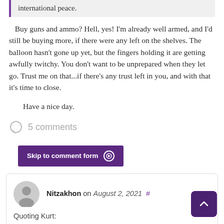international peace.
Buy guns and ammo? Hell, yes! I'm already well armed, and I'd still be buying more, if there were any left on the shelves. The balloon hasn't gone up yet, but the fingers holding it are getting awfully twitchy. You don't want to be unprepared when they let go. Trust me on that...if there's any trust left in you, and with that it's time to close.
Have a nice day.
5 comments
Skip to comment form
Nitzakhon on August 2, 2021 #
Quoting Kurt: